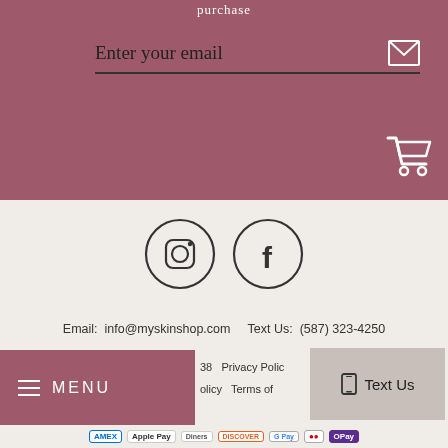purchase
Enter your email
[Figure (illustration): Shopping cart icon (white outline) in top-right of mauve banner section]
[Figure (illustration): Instagram circle icon and Facebook circle icon, dark outline on light background]
Email: info@myskinshop.com    Text Us: (587) 323-4250
MENU
38    Privacy Polic
olicy    Terms of
Text Us
AMEX  Apple Pay  Diners  DISCOVER  Google Pay  Mastercard  OPay